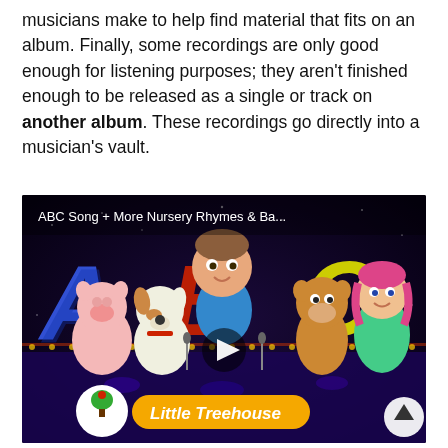musicians make to help find material that fits on an album. Finally, some recordings are only good enough for listening purposes; they aren't finished enough to be released as a single or track on another album. These recordings go directly into a musician's vault.
[Figure (screenshot): Embedded video thumbnail showing 'ABC Song + More Nursery Rhymes & Ba...' from Little Treehouse. The thumbnail shows animated characters (a boy, animals, a girl) in front of large colorful letters A, B, C on a dark stage. A play button is visible in the center and the Little Treehouse logo appears at the bottom left.]